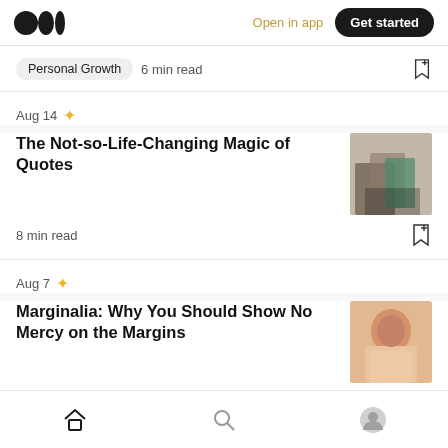Medium logo | Open in app | Get started
Personal Growth  6 min read
Aug 14 ✦
The Not-so-Life-Changing Magic of Quotes
8 min read
Aug 7 ✦
Marginalia: Why You Should Show No Mercy on the Margins
Reading  7 min read
Home | Search | Profile